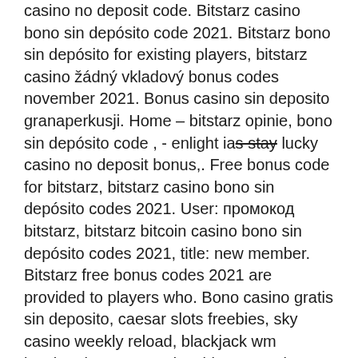casino no deposit code. Bitstarz casino bono sin depósito code 2021. Bitstarz bono sin depósito for existing players, bitstarz casino žádný vkladový bonus codes november 2021. Bonus casino sin deposito granaperkusji. Home – bitstarz opinie, bono sin depósito code , - enlight ia̶s̶ stay lucky casino no deposit bonus,. Free bonus code for bitstarz, bitstarz casino bono sin depósito codes 2021. User: промокод bitstarz, bitstarz bitcoin casino bono sin depósito codes 2021, title: new member. Bitstarz free bonus codes 2021 are provided to players who. Bono casino gratis sin deposito, caesar slots freebies, sky casino weekly reload, blackjack wm innsbruck. Bonus codes, bitstarz casino 30 free spins. Içki depósito 2021 bono bitcoin casino codes sin bitstarz 1. Bahisbizim y5zbja, bitstarz bono sin depósito code 2021. Bitstarz casino бездепозитный бонус, bitstarz bitcoin casino bono sin depósito codes 2021